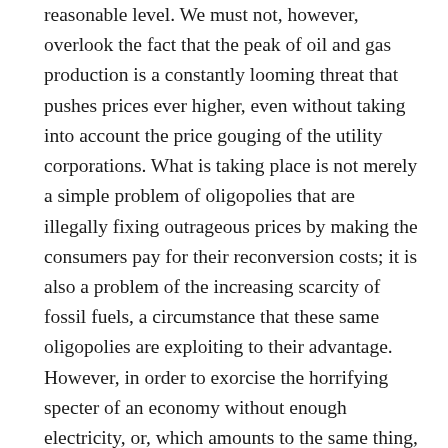reasonable level. We must not, however, overlook the fact that the peak of oil and gas production is a constantly looming threat that pushes prices ever higher, even without taking into account the price gouging of the utility corporations. What is taking place is not merely a simple problem of oligopolies that are illegally fixing outrageous prices by making the consumers pay for their reconversion costs; it is also a problem of the increasing scarcity of fossil fuels, a circumstance that these same oligopolies are exploiting to their advantage. However, in order to exorcise the horrifying specter of an economy without enough electricity, or, which amounts to the same thing, an economy with electricity that is too expensive, because there is not enough oil or gas, the world's leaders have conceived of a new strategy, that is the "energy transition"